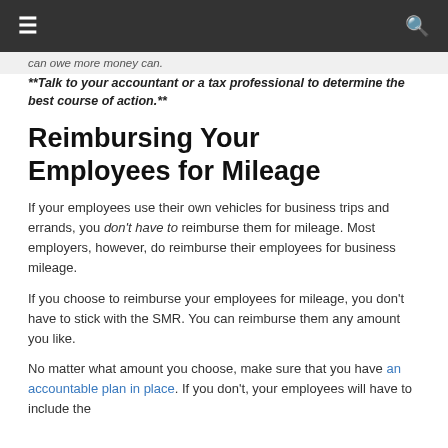Navigation bar with menu and search icons
will be larger. Remember, that if you end up can owe more money can.
**Talk to your accountant or a tax professional to determine the best course of action.**
Reimbursing Your Employees for Mileage
If your employees use their own vehicles for business trips and errands, you don't have to reimburse them for mileage. Most employers, however, do reimburse their employees for business mileage.
If you choose to reimburse your employees for mileage, you don't have to stick with the SMR. You can reimburse them any amount you like.
No matter what amount you choose, make sure that you have an accountable plan in place. If you don't, your employees will have to include the